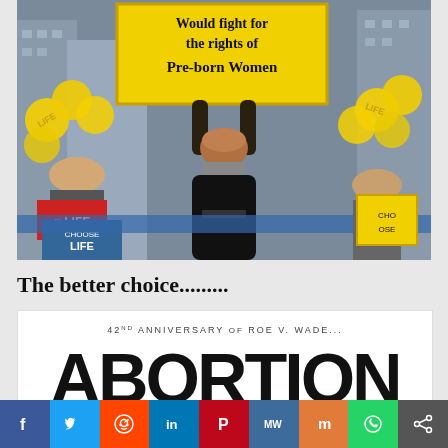[Figure (photo): A woman at a pro-life rally holding a yellow sign above her head that reads 'Would fight for the rights of Pre-born Women'. Yellow balloons and protest signs including 'LIFE' are visible in the background. The crowd is gathered in an urban setting.]
The better choice.........
[Figure (photo): An image with white background. Text reads '42nd ANNIVERSARY OF ROE V. WADE...' at the top in small caps, followed by large bold text 'ABORTION' partially visible.]
f  (Twitter bird)  (Reddit alien)  in  P  MW  m  (WhatsApp)  <